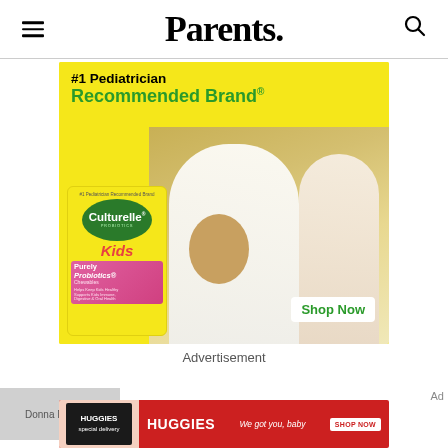Parents.
[Figure (photo): Advertisement for Culturelle Probiotics Kids: yellow background with text '#1 Pediatrician Recommended Brand' in black and green, product box image on left, doctor high-fiving child on right, 'Shop Now' button]
Advertisement
[Figure (photo): Thumbnail image of Donna Magliato author photo]
CORONAVIRUS AND COVID-19
[Figure (photo): Huggies advertisement banner: red background with Huggies logo, tagline 'We got you, baby', and Shop Now button]